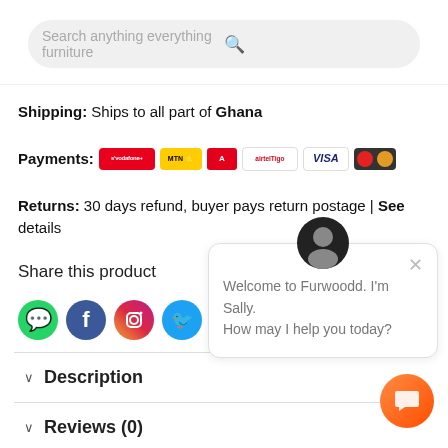Search anything everything furniture
Shipping:  Ships to all part of Ghana
Payments: [payment icons]
Returns:  30 days refund, buyer pays return postage | See details
Share this product
[Figure (infographic): Social share icons: WhatsApp (green), Facebook (blue), Instagram (gradient), Twitter (light blue), LinkedIn (dark blue), Gmail (red M)]
Description
Reviews (0)
[Figure (screenshot): Chat popup: avatar icon, close X, text 'Welcome to Furwoodd. I'm Sally. How may I help you today?' and orange chat button]